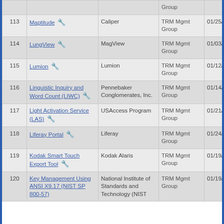| # | Name | Vendor | Group | Date | Action |
| --- | --- | --- | --- | --- | --- |
| 113 | Maptitude 🔧 | Caliper | TRM Mgmt Group | 01/25/2022 | Update |
| 114 | LungView 🔧 | MagView | TRM Mgmt Group | 01/03/2022 | Update |
| 115 | Lumion 🔧 | Lumion | TRM Mgmt Group | 01/12/2022 | New |
| 116 | Linguistic Inquiry and Word Count (LIWC) 🔧 | Pennebaker Conglomerates, Inc. | TRM Mgmt Group | 01/14/2022 | Update |
| 117 | Light Activation Service (LAS) 🔧 | USAccess Program | TRM Mgmt Group | 01/21/2022 | Update |
| 118 | Liferay Portal 🔧 | Liferay | TRM Mgmt Group | 01/24/2022 | Update |
| 119 | Kodak Smart Touch Export Tool 🔧 | Kodak Alaris | TRM Mgmt Group | 01/19/2022 | Update |
| 120 | Key Management Using ANSI X9.17 (NIST SP 800-57) 🔧 | National Institute of Standards and Technology (NIST) | TRM Mgmt Group | 01/19/2022 | Update |